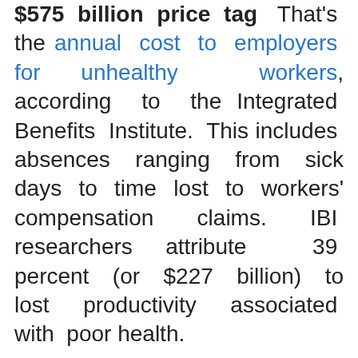$575 billion price tag — That's the annual cost to employers for unhealthy workers, according to the Integrated Benefits Institute. This includes absences ranging from sick days to time lost to workers' compensation claims. IBI researchers attribute 39 percent (or $227 billion) to lost productivity associated with poor health.
News Briefs
» The Changing Contours of Long-Term Unemployment
» Wisconsin State Trial Court